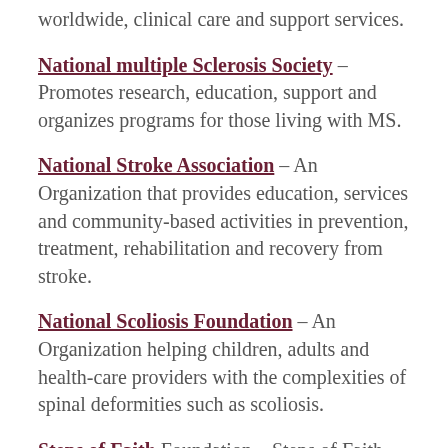worldwide, clinical care and support services.
National multiple Sclerosis Society – Promotes research, education, support and organizes programs for those living with MS.
National Stroke Association – An Organization that provides education, services and community-based activities in prevention, treatment, rehabilitation and recovery from stroke.
National Scoliosis Foundation – An Organization helping children, adults and health-care providers with the complexities of spinal deformities such as scoliosis.
Steps of Faith Foundation – Steps of Faith connects amputees to their communities